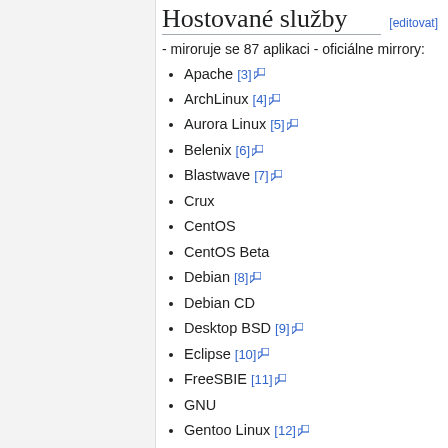Hostované služby [editovat]
- miroruje se 87 aplikaci - oficiálne mirrory:
Apache [3]
ArchLinux [4]
Aurora Linux [5]
Belenix [6]
Blastwave [7]
Crux
CentOS
CentOS Beta
Debian [8]
Debian CD
Desktop BSD [9]
Eclipse [10]
FreeSBIE [11]
GNU
Gentoo Linux [12]
Gentoo Portage
Mandriva [13]
Mandriva Edu
Mepis [14]